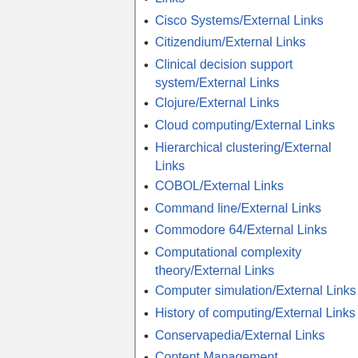Cisco Systems/External Links
Citizendium/External Links
Clinical decision support system/External Links
Clojure/External Links
Cloud computing/External Links
Hierarchical clustering/External Links
COBOL/External Links
Command line/External Links
Commodore 64/External Links
Computational complexity theory/External Links
Computer simulation/External Links
History of computing/External Links
Conservapedia/External Links
Content Management System/External Links
Creative Commons/External Links
Cryptography/External Links